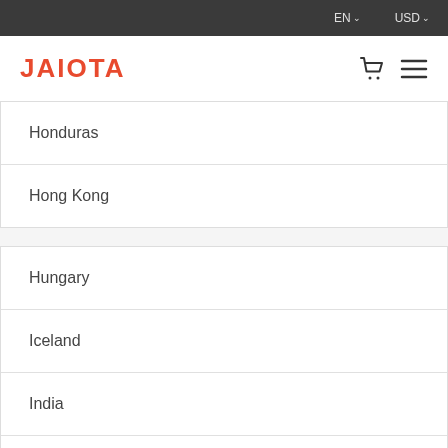EN  USD
JAIOTA
Honduras
Hong Kong
Hungary
Iceland
India
Indonesia